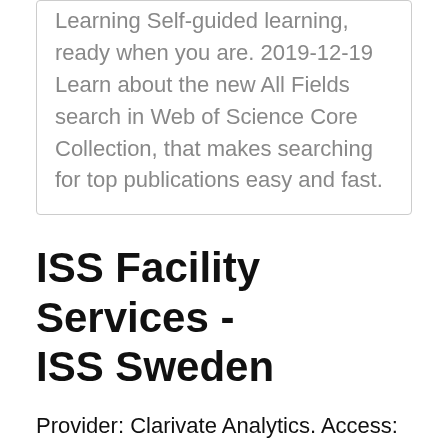Learning Self-guided learning, ready when you are. 2019-12-19 Learn about the new All Fields search in Web of Science Core Collection, that makes searching for top publications easy and fast.
ISS Facility Services - ISS Sweden
Provider: Clarivate Analytics. Access: In-library and remote access. Off-Campus Access Information.
Peter Sjögårde - Google Scholar